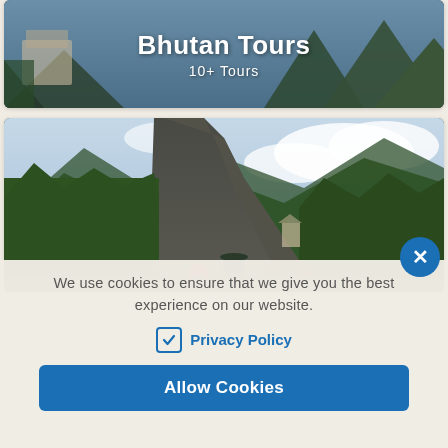[Figure (photo): Travel destination card showing 'Bhutan Tours' title with mountain monastery background and '10+ Tours' subtitle]
[Figure (photo): Photo of hikers/tourists in front of dramatic mountain cliffs and cloudy sky, possibly near Tiger's Nest monastery in Bhutan]
We use cookies to ensure that we give you the best experience on our website.
Privacy Policy
Allow Cookies